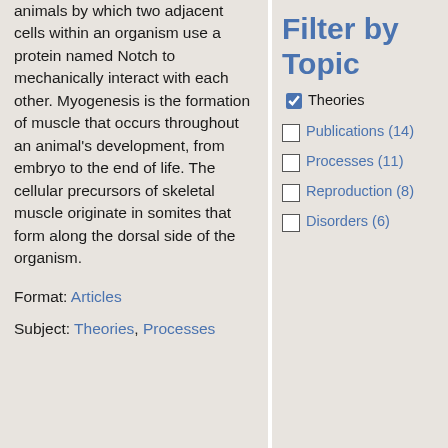animals by which two adjacent cells within an organism use a protein named Notch to mechanically interact with each other. Myogenesis is the formation of muscle that occurs throughout an animal's development, from embryo to the end of life. The cellular precursors of skeletal muscle originate in somites that form along the dorsal side of the organism.
Format: Articles
Subject: Theories, Processes
Filter by Topic
Theories (checked)
Publications (14)
Processes (11)
Reproduction (8)
Disorders (6)